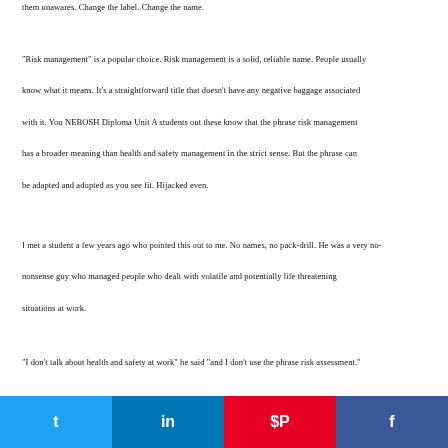them unawares. Change the label. Change the name.
"Risk management" is a popular choice. Risk management is a solid, reliable name. People usually know what it means. It's a straightforward title that doesn't have any negative baggage associated with it. You NEBOSH Diploma Unit A students out these know that the phrase risk management has a broader meaning than health and safety management in the strict sense. But the phrase can be adapted and adopted as you see fit. Hijacked even.
I met a student a few years ago who pointed this out to me. No names, no pack-drill. He was a very no-nonsense guy who managed people who dealt with volatile and potentially life threatening situations at work.
"I don't talk about health and safety at work" he said "and I don't use the phrase risk assessment."